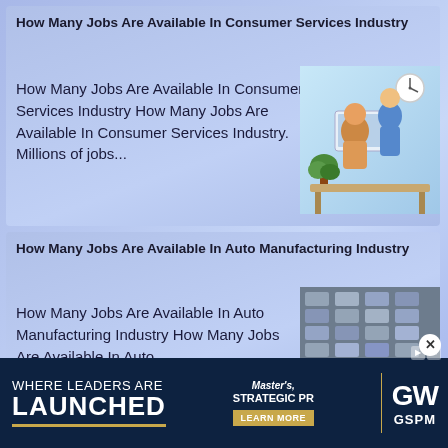How Many Jobs Are Available In Consumer Services Industry
How Many Jobs Are Available In Consumer Services Industry How Many Jobs Are Available In Consumer Services Industry. Millions of jobs...
[Figure (illustration): Cartoon illustration of two customer service workers at a desk with a computer, clock on wall, green plants]
How Many Jobs Are Available In Auto Manufacturing Industry
How Many Jobs Are Available In Auto Manufacturing Industry How Many Jobs Are Available In Auto
[Figure (photo): Aerial photo of an auto manufacturing plant or car lot with many vehicles]
[Figure (other): Advertisement banner: WHERE LEADERS ARE LAUNCHED - Master's, Strategic PR - LEARN MORE - GW GSPM logo]